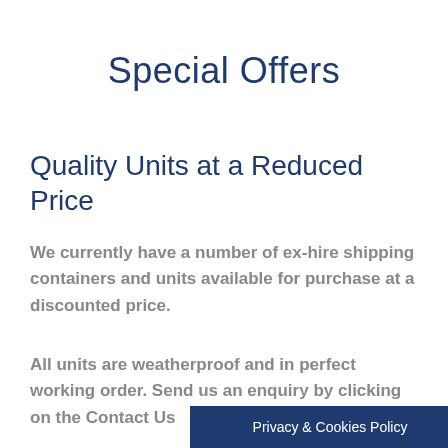Special Offers
Quality Units at a Reduced Price
We currently have a number of ex-hire shipping containers and units available for purchase at a discounted price.
All units are weatherproof and in perfect working order. Send us an enquiry by clicking on the Contact Us                              us a
Privacy & Cookies Policy